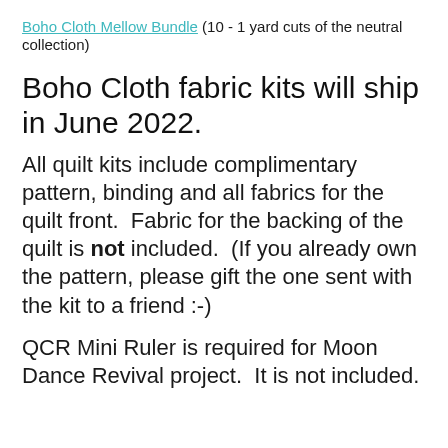Boho Cloth Mellow Bundle (10 - 1 yard cuts of the neutral collection)
Boho Cloth fabric kits will ship in June 2022.
All quilt kits include complimentary pattern, binding and all fabrics for the quilt front.  Fabric for the backing of the quilt is not included.  (If you already own the pattern, please gift the one sent with the kit to a friend :-)
QCR Mini Ruler is required for Moon Dance Revival project.  It is not included.